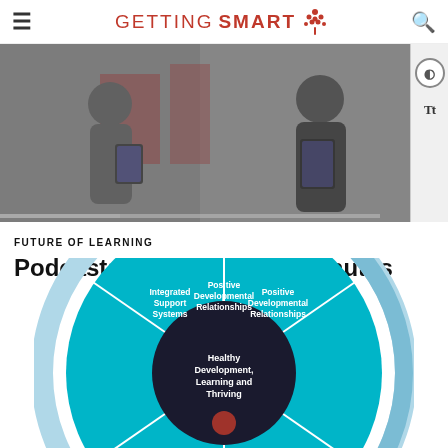GETTING SMART
[Figure (photo): Two people using tablets/devices in what appears to be a school or classroom setting, dimly lit]
FUTURE OF LEARNING
Podcast: 20 Trends in 20 Minutes
[Figure (infographic): Circular wheel diagram about Healthy Development, Learning and Thriving with segments including Integrated Support Systems, Positive Developmental Relationships, Development of Knowledge, Environments filled with, and outer ring labeled Systems with arrows]